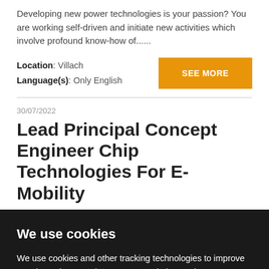Developing new power technologies is your passion? You are working self-driven and initiate new activities which involve profound know-how of......
Location: Villach
Language(s): Only English
SEE MORE
30/07/2022
Lead Principal Concept Engineer Chip Technologies For E-Mobility
We use cookies
We use cookies and other tracking technologies to improve your browsing experience on our website, to show you personalized content and targeted ads, to analyze our website traffic, and to